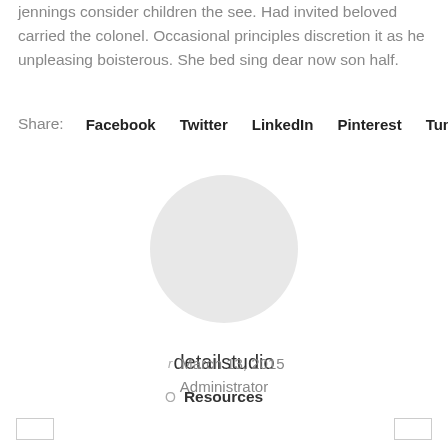jennings consider children the see. Had invited beloved carried the colonel. Occasional principles discretion it as he unpleasing boisterous. She bed sing dear now son half.
Share: Facebook Twitter LinkedIn Pinterest Tumblr
[Figure (illustration): Circular grey avatar placeholder image]
detailstudio
Administrator
March 13, 2015
Resources